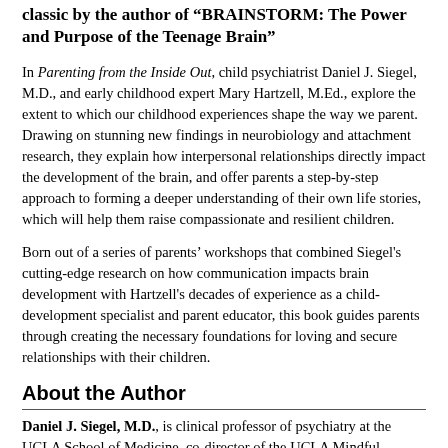classic by the author of "BRAINSTORM: The Power and Purpose of the Teenage Brain"
In Parenting from the Inside Out, child psychiatrist Daniel J. Siegel, M.D., and early childhood expert Mary Hartzell, M.Ed., explore the extent to which our childhood experiences shape the way we parent. Drawing on stunning new findings in neurobiology and attachment research, they explain how interpersonal relationships directly impact the development of the brain, and offer parents a step-by-step approach to forming a deeper understanding of their own life stories, which will help them raise compassionate and resilient children.
Born out of a series of parents' workshops that combined Siegel's cutting-edge research on how communication impacts brain development with Hartzell's decades of experience as a child-development specialist and parent educator, this book guides parents through creating the necessary foundations for loving and secure relationships with their children.
About the Author
Daniel J. Siegel, M.D., is clinical professor of psychiatry at the UCLA School of Medicine, co-director of the UCLA Mindful Awareness Research